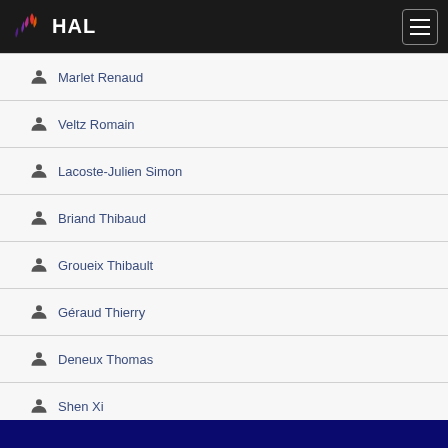HAL
Marlet Renaud
Veltz Romain
Lacoste-Julien Simon
Briand Thibaud
Groueix Thibault
Géraud Thierry
Deneux Thomas
Shen Xi